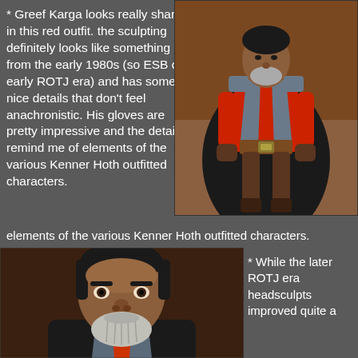* Greef Karga looks really sharp in this red outfit. the sculpting definitely looks like something from the early 1980s (so ESB or early ROTJ era) and has some nice details that don't feel anachronistic. His gloves are pretty impressive and the details remind me of elements of the various Kenner Hoth outfitted characters.
[Figure (photo): Action figure of Greef Karga in red outfit with gray vest, brown belt with gold buckle, and dark cape, photographed against a warm brown background]
[Figure (photo): Close-up of the head sculpt of a Greef Karga action figure showing detailed facial features with gray beard, dark hair, and brown complexion]
* While the later ROTJ era headsculpts improved quite a